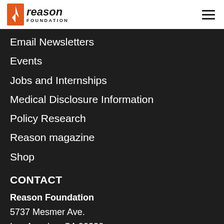Reason Foundation
Email Newsletters
Events
Jobs and Internships
Medical Disclosure Information
Policy Research
Reason magazine
Shop
CONTACT
Reason Foundation
5737 Mesmer Ave.
Los Angeles, CA 90230